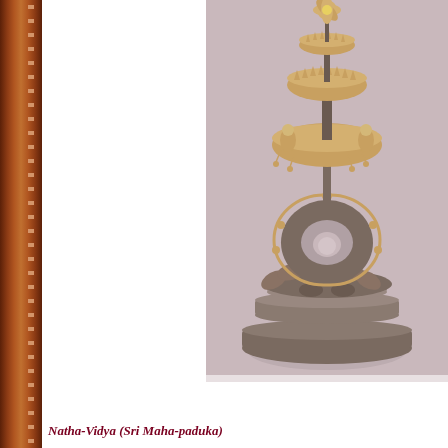[Figure (photo): A tall ornate Hindu ritual object (Sri Maha-paduka / Natha-Vidya) photographed against a pinkish-mauve background. The object has a large circular tiered base with carved decorations, a middle section featuring an arched backplate with filigree work and a small window/opening, and an elaborate golden canopy top with multiple tiers of ornate decorative elements, fans, and a finial at the top.]
Natha-Vidya (Sri Maha-paduka)